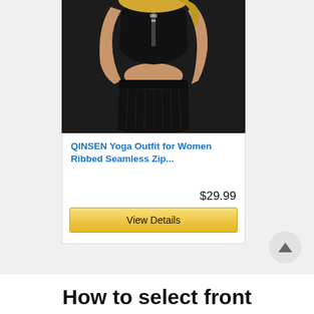[Figure (photo): Product card showing a woman wearing a black ribbed seamless zip yoga outfit set (sports bra top with zipper and matching bike shorts), displayed on an e-commerce listing card with product title, price $29.99, and a 'View Details' button.]
QINSEN Yoga Outfit for Women Ribbed Seamless Zip...
$29.99
View Details
How to select front